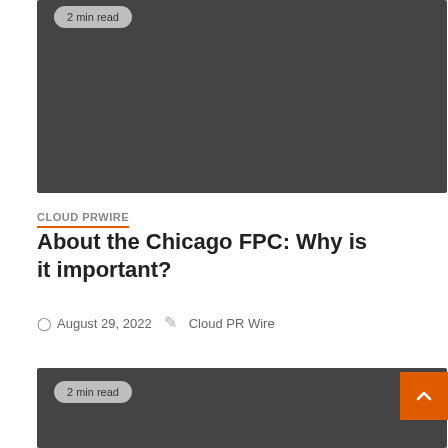[Figure (photo): Dark gray image block with '2 min read' badge at top left]
CLOUD PRWIRE
About the Chicago FPC: Why is it important?
August 29, 2022   Cloud PR Wire
[Figure (photo): Dark gray image block with '2 min read' badge at top left and orange back-to-top button at top right]